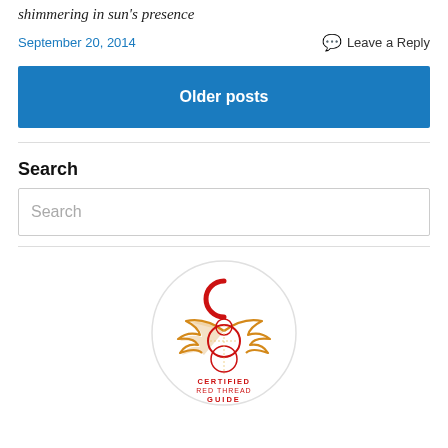shimmering in sun's presence
September 20, 2014
Leave a Reply
Older posts
Search
Search
[Figure (logo): Certified Red Thread Guide circular logo with winged emblem and red circular motif]